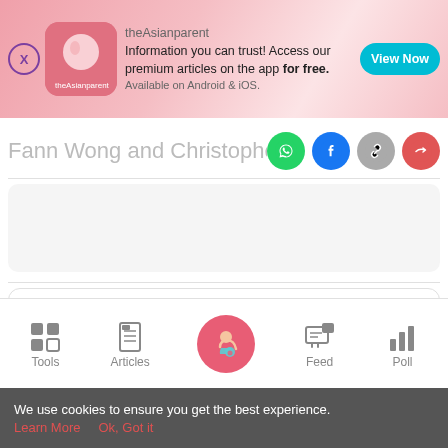[Figure (screenshot): theAsianparent app banner ad with close button, logo, text 'Information you can trust! Access our premium articles on the app for free. Available on Android & iOS.' and 'View Now' button]
Fann Wong and Christopher Lee: No
[Figure (screenshot): Grey placeholder ad block 1]
[Figure (screenshot): Grey placeholder ad block 2 inside bordered container]
[Figure (screenshot): Bottom navigation bar with Tools, Articles, home (pregnant woman icon), Feed, Poll]
We use cookies to ensure you get the best experience.
Learn More   Ok, Got it